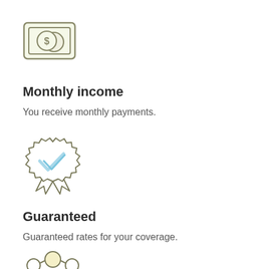[Figure (illustration): Icon of a dollar bill / money with a dollar sign circle, light green background square outline, drawn in a simple line art style]
Monthly income
You receive monthly payments.
[Figure (illustration): Icon of a badge/seal with a blue checkmark inside, with ribbon tails below, drawn in a simple line art style]
Guaranteed
Guaranteed rates for your coverage.
[Figure (illustration): Partial icon of a network/people connection diagram with circular nodes, partially visible at bottom of page, drawn in a simple line art style]